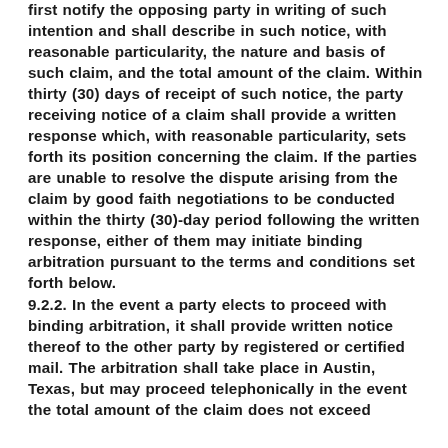first notify the opposing party in writing of such intention and shall describe in such notice, with reasonable particularity, the nature and basis of such claim, and the total amount of the claim. Within thirty (30) days of receipt of such notice, the party receiving notice of a claim shall provide a written response which, with reasonable particularity, sets forth its position concerning the claim. If the parties are unable to resolve the dispute arising from the claim by good faith negotiations to be conducted within the thirty (30)-day period following the written response, either of them may initiate binding arbitration pursuant to the terms and conditions set forth below.
9.2.2. In the event a party elects to proceed with binding arbitration, it shall provide written notice thereof to the other party by registered or certified mail. The arbitration shall take place in Austin, Texas, but may proceed telephonically in the event the total amount of the claim does not exceed